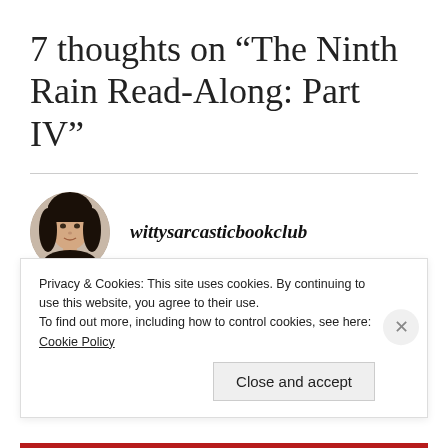7 thoughts on “The Ninth Rain Read-Along: Part IV”
[Figure (photo): Circular avatar photo of a woman with dark hair]
wittysarcasticbookclub
MAY 31, 2019 AT 9:12 AM
Privacy & Cookies: This site uses cookies. By continuing to use this website, you agree to their use.
To find out more, including how to control cookies, see here: Cookie Policy
Close and accept